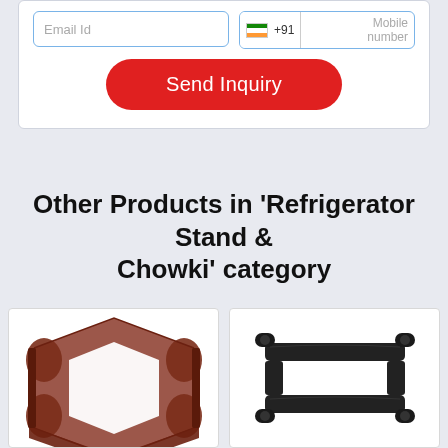[Figure (screenshot): Partial web form with Email Id input field and mobile number field with country code +91, and a red Send Inquiry button]
Other Products in 'Refrigerator Stand & Chowki' category
[Figure (photo): Brown/maroon square refrigerator stand with decorative cutout design viewed from above at an angle]
[Figure (photo): Black rectangular refrigerator stand/chowki with cylindrical legs viewed from the front]